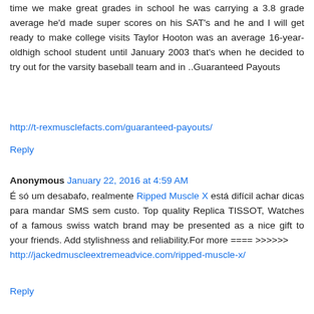time we make great grades in school he was carrying a 3.8 grade average he'd made super scores on his SAT's and he and I will get ready to make college visits Taylor Hooton was an average 16-year-oldhigh school student until January 2003 that's when he decided to try out for the varsity baseball team and in ..Guaranteed Payouts
http://t-rexmusclefacts.com/guaranteed-payouts/
Reply
Anonymous January 22, 2016 at 4:59 AM
É só um desabafo, realmente Ripped Muscle X está difícil achar dicas para mandar SMS sem custo. Top quality Replica TISSOT, Watches of a famous swiss watch brand may be presented as a nice gift to your friends. Add stylishness and reliability.For more ==== >>>>>> http://jackedmuscleextremeadvice.com/ripped-muscle-x/
Reply